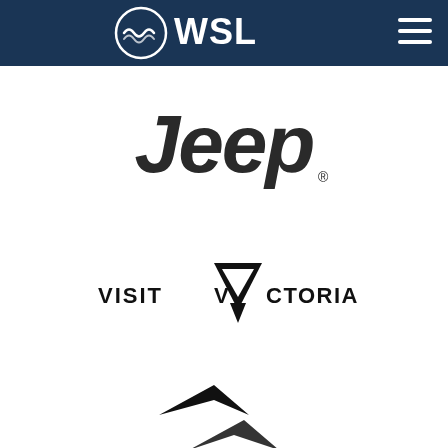[Figure (logo): WSL (World Surf League) logo in white on dark navy blue header bar, with wave icon and hamburger menu icon on the right]
[Figure (logo): Jeep logo in black on white background, bold serif italic font with registered trademark symbol]
[Figure (logo): Visit Victoria logo in black on white background, with downward-pointing triangle/arrow incorporated into the V]
[Figure (logo): Partial third sponsor logo visible at bottom of page, black geometric shape]